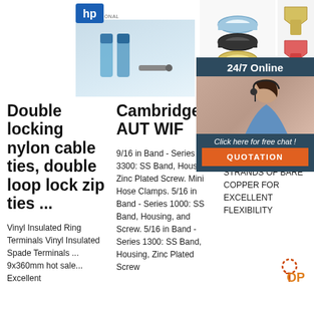[Figure (photo): Product photos: wire connectors/terminals at top, ring terminals with bands in center, spade terminals and table at right, with customer service chat overlay showing woman with headset]
Double locking nylon cable ties, double loop lock zip ties ...
Vinyl Insulated Ring Terminals Vinyl Insulated Spade Terminals ... 9x360mm hot sale... Excellent
Cambridge AUT WIF
9/16 in Band - Series 3300: SS Band, Housing, Zinc Plated Screw. Mini Hose Clamps. 5/16 in Band - Series 1000: SS Band, Housing, and Screw. 5/16 in Band - Series 1300: SS Band, Housing, Zinc Plated Screw
2/0 SG INSUL AUTO XLPE INSUL WIRE TO -40C, 19X66/30 STRANDS OF BARE COPPER FOR EXCELLENT FLEXIBILITY
24/7 Online
Click here for free chat !
QUOTATION